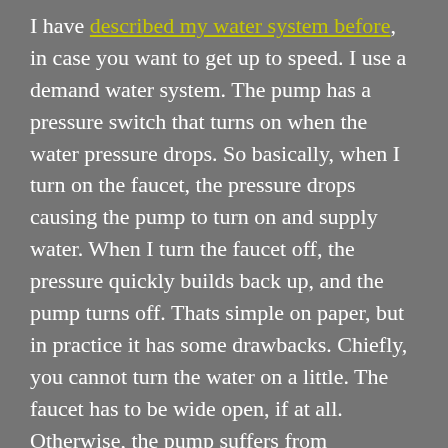I have described my water system before, in case you want to get up to speed. I use a demand water system. The pump has a pressure switch that turns on when the water pressure drops. So basically, when I turn on the faucet, the pressure drops causing the pump to turn on and supply water. When I turn the faucet off, the pressure quickly builds back up, and the pump turns off. Thats simple on paper, but in practice it has some drawbacks. Chiefly, you cannot turn the water on a little. The faucet has to be wide open, if at all. Otherwise, the pump suffers from pulsation. It’s reminiscent of “water hammer”, but its different. When the water flow is restricted by a semi-open faucet, the pump turns on and off